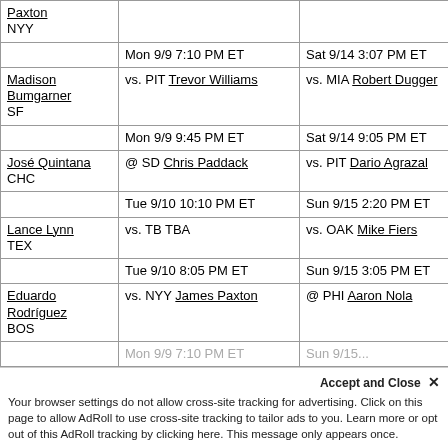| Pitcher | Next Start | Following Start |
| --- | --- | --- |
| Paxton NYY |  |  |
|  | Mon 9/9 7:10 PM ET | Sat 9/14 3:07 PM ET |
| Madison Bumgarner SF | vs. PIT Trevor Williams | vs. MIA Robert Dugger |
|  | Mon 9/9 9:45 PM ET | Sat 9/14 9:05 PM ET |
| José Quintana CHC | @ SD Chris Paddack | vs. PIT Dario Agrazal |
|  | Tue 9/10 10:10 PM ET | Sun 9/15 2:20 PM ET |
| Lance Lynn TEX | vs. TB TBA | vs. OAK Mike Fiers |
|  | Tue 9/10 8:05 PM ET | Sun 9/15 3:05 PM ET |
| Eduardo Rodríguez BOS | vs. NYY James Paxton | @ PHI Aaron Nola |
|  | Mon 9/9 7:10 PM ET | Sun 9/15... |
Accept and Close ✕
Your browser settings do not allow cross-site tracking for advertising. Click on this page to allow AdRoll to use cross-site tracking to tailor ads to you. Learn more or opt out of this AdRoll tracking by clicking here. This message only appears once.